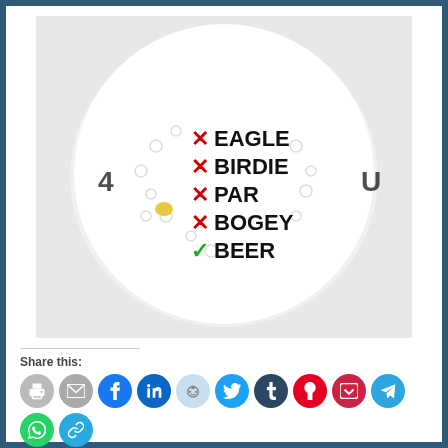[Figure (photo): A white golf ball on a light grey background. The ball has text printed on it with a checklist: red X marks next to EAGLE, BIRDIE, PAR, BOGEY and a green checkmark next to BEER. Partial text visible on left and right edges of ball.]
Share this:
[Figure (other): Row of social media share icon circles: print, email, facebook, linkedin, reddit, twitter, tumblr, pinterest, pocket, telegram, whatsapp, copy link]